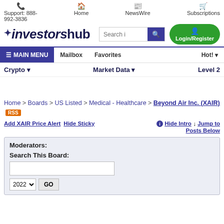Support: 888-992-3836 | Home | NewsWire | Subscriptions
[Figure (logo): InvestorsHub logo with search bar and Login/Register button]
MAIN MENU | Mailbox | Favorites | Hot!
Crypto | Market Data | Level 2
Home > Boards > US Listed > Medical - Healthcare > Beyond Air Inc. (XAIR) RSS
Add XAIR Price Alert | Hide Sticky | Hide Intro | Jump to Posts Below
Moderators:
Search This Board:
2022 GO